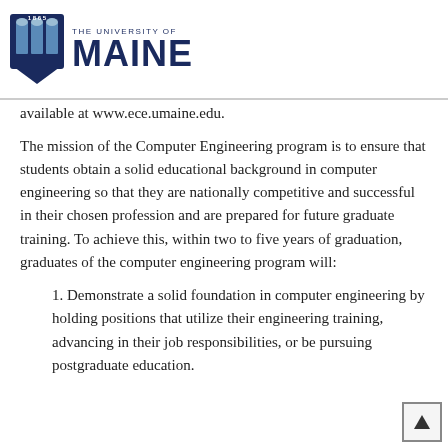[Figure (logo): University of Maine shield logo with '1865 THE UNIVERSITY OF MAINE' text in navy blue]
available at www.ece.umaine.edu.
The mission of the Computer Engineering program is to ensure that students obtain a solid educational background in computer engineering so that they are nationally competitive and successful in their chosen profession and are prepared for future graduate training. To achieve this, within two to five years of graduation, graduates of the computer engineering program will:
1. Demonstrate a solid foundation in computer engineering by holding positions that utilize their engineering training, advancing in their job responsibilities, or be pursuing postgraduate education.